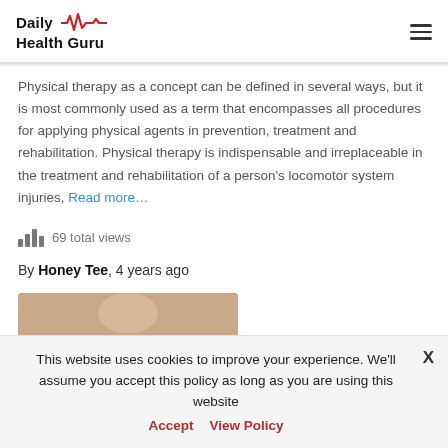Daily Health Guru
Physical therapy as a concept can be defined in several ways, but it is most commonly used as a term that encompasses all procedures for applying physical agents in prevention, treatment and rehabilitation. Physical therapy is indispensable and irreplaceable in the treatment and rehabilitation of a person's locomotor system injuries, Read more…
69 total views
By Honey Tee, 4 years ago
[Figure (photo): Partial image preview at bottom of article]
This website uses cookies to improve your experience. We'll assume you accept this policy as long as you are using this website Accept View Policy